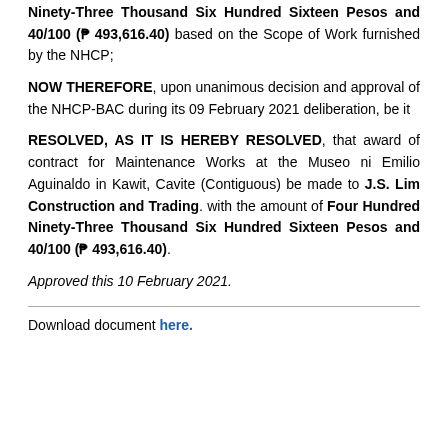Ninety-Three Thousand Six Hundred Sixteen Pesos and 40/100 (₱ 493,616.40) based on the Scope of Work furnished by the NHCP;
NOW THEREFORE, upon unanimous decision and approval of the NHCP-BAC during its 09 February 2021 deliberation, be it
RESOLVED, AS IT IS HEREBY RESOLVED, that award of contract for Maintenance Works at the Museo ni Emilio Aguinaldo in Kawit, Cavite (Contiguous) be made to J.S. Lim Construction and Trading. with the amount of Four Hundred Ninety-Three Thousand Six Hundred Sixteen Pesos and 40/100 (₱ 493,616.40).
Approved this 10 February 2021.
Download document here.